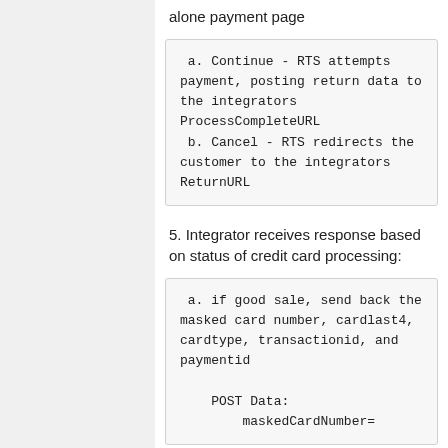alone payment page
a. Continue - RTS attempts payment, posting return data to the integrators ProcessCompleteURL
 b. Cancel - RTS redirects the customer to the integrators ReturnURL
5. Integrator receives response based on status of credit card processing:
a. if good sale, send back the masked card number, cardlast4, cardtype, transactionid, and paymentid

    POST Data:
        maskedCardNumber=